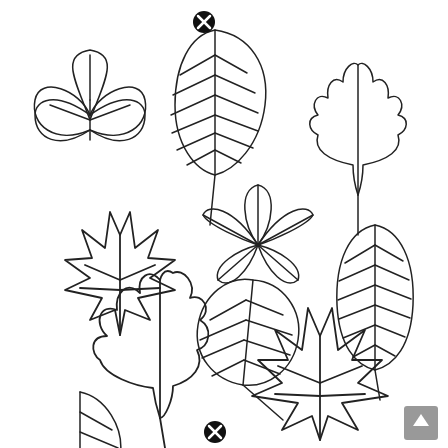[Figure (illustration): Collection of 10 leaf outline drawings on white background: chestnut/horse-chestnut compound leaf (top-left), beech/birch oval leaf with parallel veins (top-center, with black X marker), oak leaf with lobes (top-right), small 5-lobed chestnut leaf (center), maple leaf with jagged lobes (middle-left), narrow oval veined leaf (middle-right), round veined leaf (center), narrow oval striped leaf (right-center), large oak leaf (bottom-left), large maple leaf (bottom-center-right), partial birch leaf (bottom-left partial), and a black X marker at bottom-center.]